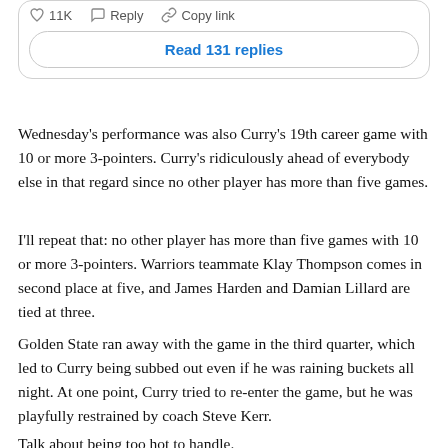[Figure (screenshot): Social media post UI element showing like count '11K', Reply button, Copy link button, and a 'Read 131 replies' button]
Wednesday's performance was also Curry's 19th career game with 10 or more 3-pointers. Curry's ridiculously ahead of everybody else in that regard since no other player has more than five games.
I'll repeat that: no other player has more than five games with 10 or more 3-pointers. Warriors teammate Klay Thompson comes in second place at five, and James Harden and Damian Lillard are tied at three.
Golden State ran away with the game in the third quarter, which led to Curry being subbed out even if he was raining buckets all night. At one point, Curry tried to re-enter the game, but he was playfully restrained by coach Steve Kerr.
Talk about being too hot to handle.